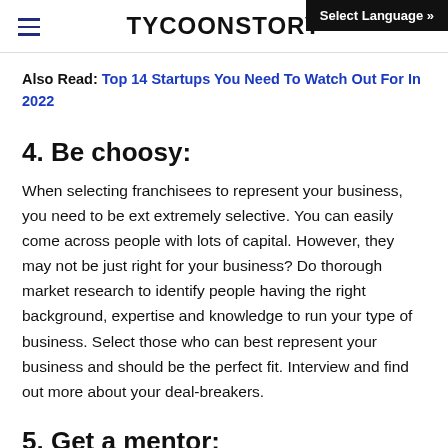≡  TYCOONSTORY   Select Language »
Also Read: Top 14 Startups You Need To Watch Out For In 2022
4. Be choosy:
When selecting franchisees to represent your business, you need to be ext extremely selective. You can easily come across people with lots of capital. However, they may not be just right for your business? Do thorough market research to identify people having the right background, expertise and knowledge to run your type of business. Select those who can best represent your business and should be the perfect fit. Interview and find out more about your deal-breakers.
5. Get a mentor:
You may be the Franchise Owner. But then, it will be useful